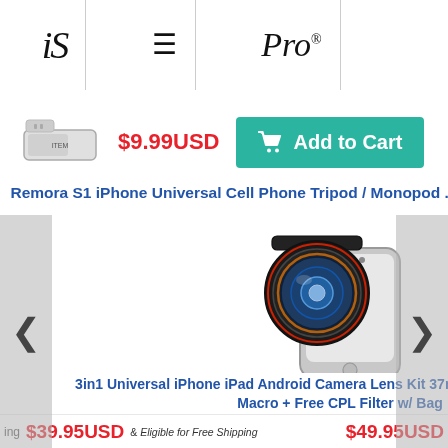iS  ≡  Pro®  [cart]
$9.99USD
Add to Cart
Remora S1 iPhone Universal Cell Phone Tripod / Monopod ...
[Figure (photo): 3in1 Universal iPhone iPad Android Camera Lens Kit 37mm Super Wide Angle + Macro + Free CPL Filter w/ Bag — clip-on wide angle lens attached to silver iPhone]
3in1 Universal iPhone iPad Android Camera Lens Kit 37mm Super Wide Angle + Macro + Free CPL Filter w/ Bag
[Figure (photo): G8 Pro iPad A 360° Articula — partial product image on right side]
G8 Pro iPad A 360° Articula
ing  $39.95USD  & Eligible for Free Shipping
$49.95USD